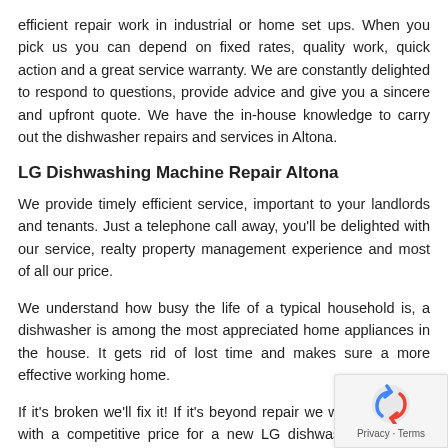efficient repair work in industrial or home set ups. When you pick us you can depend on fixed rates, quality work, quick action and a great service warranty. We are constantly delighted to respond to questions, provide advice and give you a sincere and upfront quote. We have the in-house knowledge to carry out the dishwasher repairs and services in Altona.
LG Dishwashing Machine Repair Altona
We provide timely efficient service, important to your landlords and tenants. Just a telephone call away, you'll be delighted with our service, realty property management experience and most of all our price.
We understand how busy the life of a typical household is, a dishwasher is among the most appreciated home appliances in the house. It gets rid of lost time and makes sure a more effective working home.
If it's broken we'll fix it! If it's beyond repair we will provide you with a competitive price for a new LG dishwashing machine dishwasher installation. Or if you have a new home appliance we happy to take care of the full installation.